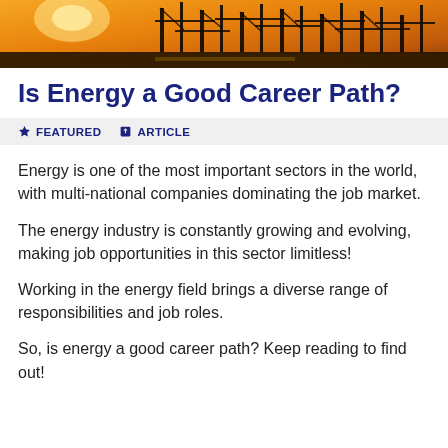[Figure (photo): Industrial/energy infrastructure at sunset with orange sky and silhouetted crane or scaffolding structures]
Is Energy a Good Career Path?
FEATURED   ARTICLE
Energy is one of the most important sectors in the world, with multi-national companies dominating the job market.
The energy industry is constantly growing and evolving, making job opportunities in this sector limitless!
Working in the energy field brings a diverse range of responsibilities and job roles.
So, is energy a good career path? Keep reading to find out!